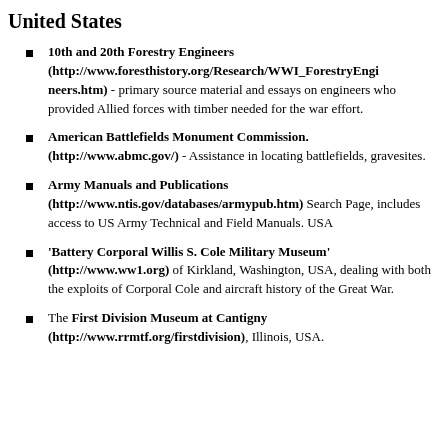United States
10th and 20th Forestry Engineers (http://www.foresthistory.org/Research/WWI_ForestryEngineers.htm) - primary source material and essays on engineers who provided Allied forces with timber needed for the war effort.
American Battlefields Monument Commission. (http://www.abmc.gov/) - Assistance in locating battlefields, gravesites.
Army Manuals and Publications (http://www.ntis.gov/databases/armypub.htm) Search Page, includes access to US Army Technical and Field Manuals. USA
'Battery Corporal Willis S. Cole Military Museum' (http://www.ww1.org) of Kirkland, Washington, USA, dealing with both the exploits of Corporal Cole and aircraft history of the Great War.
The First Division Museum at Cantigny (http://www.rrmtf.org/firstdivision), Illinois, USA.